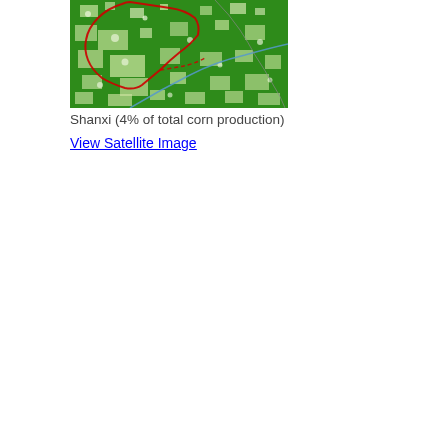[Figure (map): Satellite-derived land cover map of Shanxi province, China. The image shows a predominantly green background (vegetation/cropland) with white/light patches indicating non-vegetated areas. A red boundary line outlines a sub-region within the province. A blue line indicates a river. A grey line shows another administrative or geographic boundary.]
Shanxi (4% of total corn production)
View Satellite Image